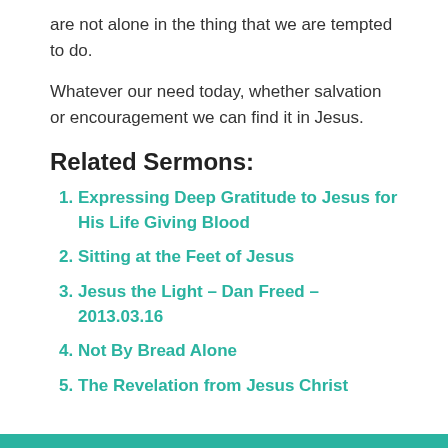are not alone in the thing that we are tempted to do.
Whatever our need today, whether salvation or encouragement we can find it in Jesus.
Related Sermons:
Expressing Deep Gratitude to Jesus for His Life Giving Blood
Sitting at the Feet of Jesus
Jesus the Light – Dan Freed – 2013.03.16
Not By Bread Alone
The Revelation from Jesus Christ